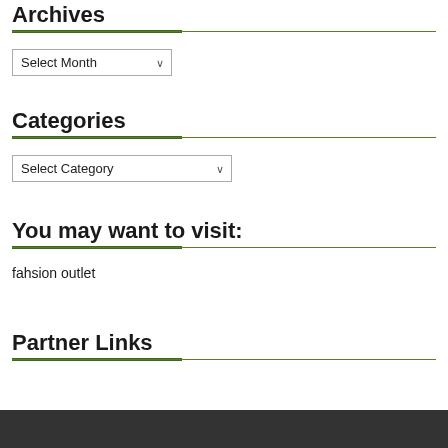Archives
Select Month
Categories
Select Category
You may want to visit:
fahsion outlet
Partner Links